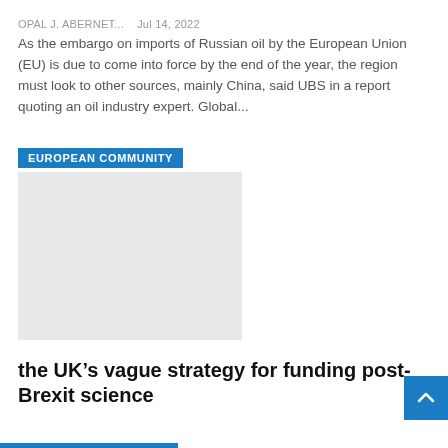OPAL J. ABERNET...   Jul 14, 2022
As the embargo on imports of Russian oil by the European Union (EU) is due to come into force by the end of the year, the region must look to other sources, mainly China, said UBS in a report quoting an oil industry expert. Global...
[Figure (photo): Image placeholder with 'EUROPEAN COMMUNITY' badge overlay on a light grey rectangular image block]
the UK’s vague strategy for funding post-Brexit science
OPAL J. ABERNET...   Jul 14, 2022
Britain’s science minister George Freeman (left) resigned last week alongside other ministers, forcing Prime Minister Boris Johnson to resign on July 7.Credit: Victoria Jones/PA Images/Alamy,...